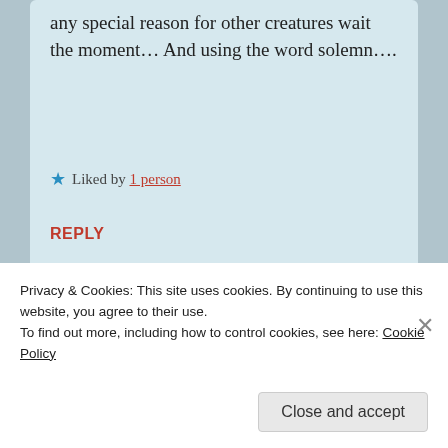any special reason for other creatures wait the moment… And using the word solemn….
★ Liked by 1 person
REPLY
● Medora Chevalier  January 4, 2018 — 4:45 pm
Privacy & Cookies: This site uses cookies. By continuing to use this website, you agree to their use.
To find out more, including how to control cookies, see here: Cookie Policy
Close and accept